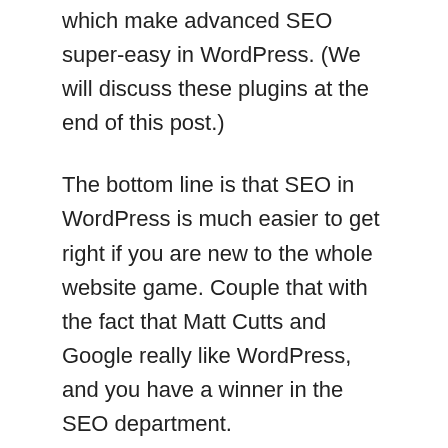which make advanced SEO super-easy in WordPress. (We will discuss these plugins at the end of this post.)
The bottom line is that SEO in WordPress is much easier to get right if you are new to the whole website game. Couple that with the fact that Matt Cutts and Google really like WordPress, and you have a winner in the SEO department.
Page Speed
The notion that Joomla is bulky and will make your website a slow-loading, bandwidth-eating